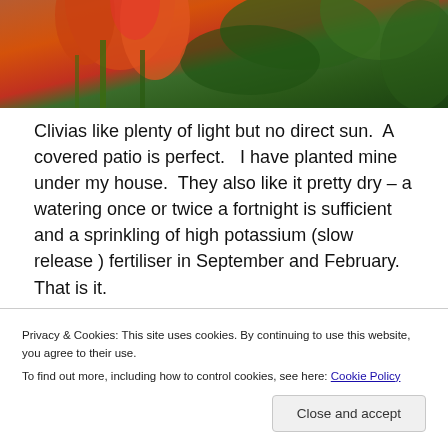[Figure (photo): Close-up photo of orange/red clivia flowers with green foliage background]
Clivias like plenty of light but no direct sun.  A covered patio is perfect.   I have planted mine under my house.  They also like it pretty dry – a watering once or twice a fortnight is sufficient and a sprinkling of high potassium (slow release ) fertiliser in September and February.  That is it.
[Figure (screenshot): Partial screenshot of a dark-themed webpage with pink button and circular element]
Privacy & Cookies: This site uses cookies. By continuing to use this website, you agree to their use.
To find out more, including how to control cookies, see here: Cookie Policy

Close and accept